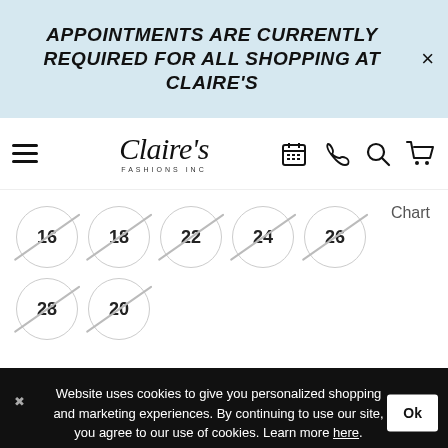APPOINTMENTS ARE CURRENTLY REQUIRED FOR ALL SHOPPING AT CLAIRE'S
[Figure (screenshot): Claire's Fashions Inc navigation bar with hamburger menu, logo, calendar, phone, search, and cart icons]
Chart
16 (crossed out)
18 (crossed out)
22 (crossed out)
24 (crossed out)
26 (crossed out)
28 (crossed out)
20 (crossed out)
Website uses cookies to give you personalized shopping and marketing experiences. By continuing to use our site, you agree to our use of cookies. Learn more here.